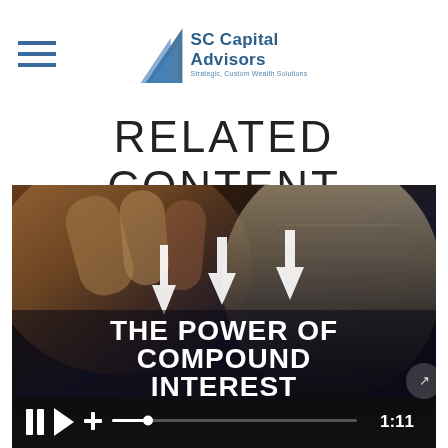SC Capital Advisors — Strategic, Custom Wealth Solutions
RELATED CONTENT
[Figure (screenshot): Video thumbnail showing a hand touching a tablet screen with Benjamin Franklin portrait and three upward-pointing arrows overlaid, with bold white text reading 'THE POWER OF COMPOUND INTEREST'. Video controls bar at bottom showing pause, play, plus icons, a progress bar, and duration 1:11.]